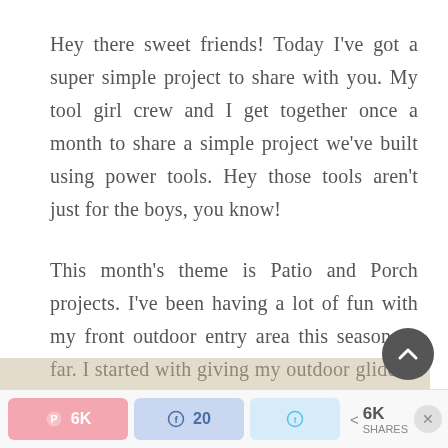Hey there sweet friends! Today I've got a super simple project to share with you. My tool girl crew and I get together once a month to share a simple project we've built using power tools. Hey those tools aren't just for the boys, you know!
This month's theme is Patio and Porch projects. I've been having a lot of fun with my front outdoor entry area this season so far. I started with giving my outdoor glider a makeover:
[Figure (photo): Partial view of a photo at the bottom of the page, cropped]
Pinterest 6K | Facebook 20 | Twitter | < 6K SHARES | X